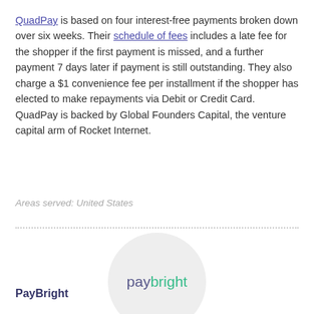QuadPay is based on four interest-free payments broken down over six weeks. Their schedule of fees includes a late fee for the shopper if the first payment is missed, and a further payment 7 days later if payment is still outstanding. They also charge a $1 convenience fee per installment if the shopper has elected to make repayments via Debit or Credit Card. QuadPay is backed by Global Founders Capital, the venture capital arm of Rocket Internet.
Areas served: United States
[Figure (logo): PayBright logo inside a light grey circle. The word 'pay' is in dark purple/blue and 'bright' is in green.]
PayBright